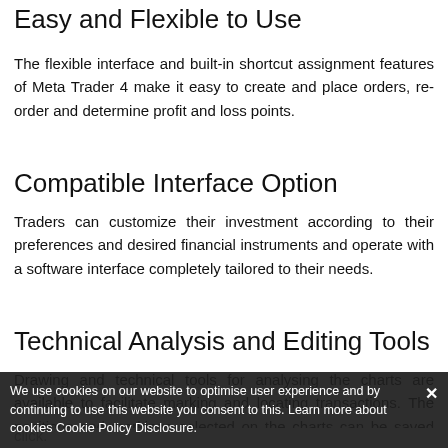Easy and Flexible to Use
The flexible interface and built-in shortcut assignment features of Meta Trader 4 make it easy to create and place orders, re-order and determine profit and loss points.
Compatible Interface Option
Traders can customize their investment according to their preferences and desired financial instruments and operate with a software interface completely tailored to their needs.
Technical Analysis and Editing Tools
Drawing and technical tools for analysing the charts are available to facilitate marking and locating transactions. The positions and markings selected on the charts can be saved and historical data can be retrieved just with one click.
Displaying Compatibility
Regardless of the assets on the Forex market...
We use cookies on our website to optimise user experience and by continuing to use this website you consent to this. Learn more about cookies Cookie Policy Disclosure.